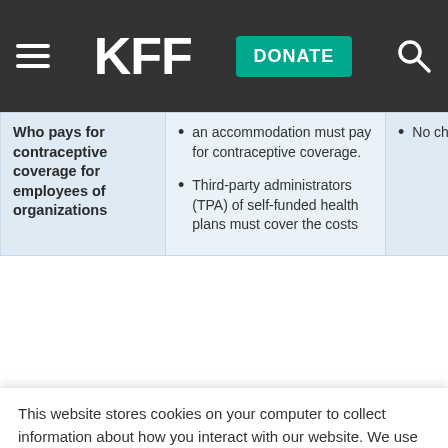[Figure (logo): KFF website navigation bar with hamburger menu, KFF logo in white on dark background, green DONATE button, and search icon]
| Who pays for contraceptive coverage for employees of organizations | an accommodation must pay for contraceptive coverage.
• Third-party administrators (TPA) of self-funded health plans must cover the costs | • No change. |
This website stores cookies on your computer to collect information about how you interact with our website. We use this information in order to improve and customize your browsing experience and for analytics and metrics about our visitors both on this website and other media. To find out more about the cookies we use, see our Privacy Policy.
Accept